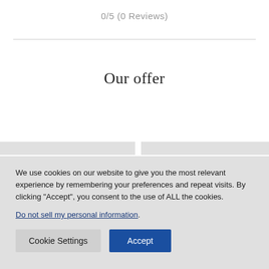0/5 (0 Reviews)
Our offer
We use cookies on our website to give you the most relevant experience by remembering your preferences and repeat visits. By clicking “Accept”, you consent to the use of ALL the cookies.
Do not sell my personal information.
Cookie Settings
Accept